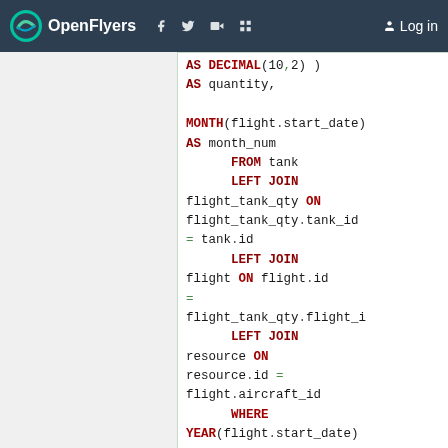OpenFlyers — Log in
AS DECIMAL(10,2) )
AS quantity,

MONTH(flight.start_date)
AS month_num
    FROM tank
    LEFT JOIN
flight_tank_qty ON
flight_tank_qty.tank_id
= tank.id
    LEFT JOIN
flight ON flight.id
=
flight_tank_qty.flight_i
    LEFT JOIN
resource ON
resource.id =
flight.aircraft_id
    WHERE
YEAR(flight.start_date)
= $year
) AS my_table
GROUP BY
resource_name,
tank_type